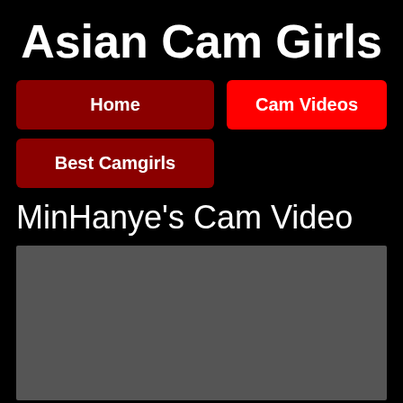Asian Cam Girls
Home
Cam Videos
Best Camgirls
MinHanye's Cam Video
[Figure (other): Dark gray video placeholder rectangle]